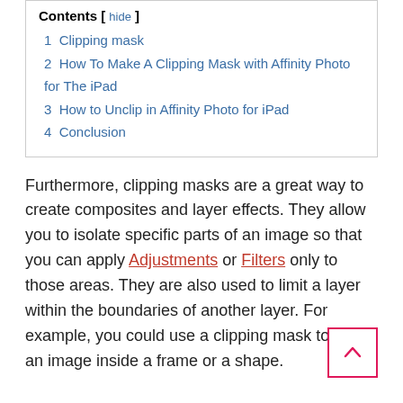Contents [ hide ]
1  Clipping mask
2  How To Make A Clipping Mask with Affinity Photo for The iPad
3  How to Unclip in Affinity Photo for iPad
4  Conclusion
Furthermore, clipping masks are a great way to create composites and layer effects. They allow you to isolate specific parts of an image so that you can apply Adjustments or Filters only to those areas. They are also used to limit a layer within the boundaries of another layer. For example, you could use a clipping mask to place an image inside a frame or a shape.